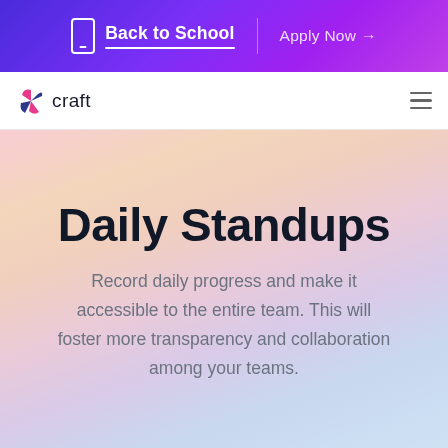Back to School | Apply Now →
[Figure (logo): Craft app logo with colorful pinwheel/diamond icon and text 'craft']
Daily Standups
Record daily progress and make it accessible to the entire team. This will foster more transparency and collaboration among your teams.